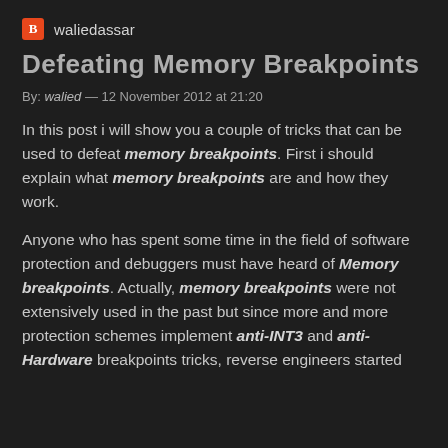waliedassar
Defeating Memory Breakpoints
By: walied — 12 November 2012 at 21:20
In this post i will show you a couple of tricks that can be used to defeat memory breakpoints. First i should explain what memory breakpoints are and how they work.
Anyone who has spent some time in the field of software protection and debuggers must have heard of Memory breakpoints. Actually, memory breakpoints were not extensively used in the past but since more and more protection schemes implement anti-INT3 and anti-Hardware breakpoints tricks, reverse engineers started